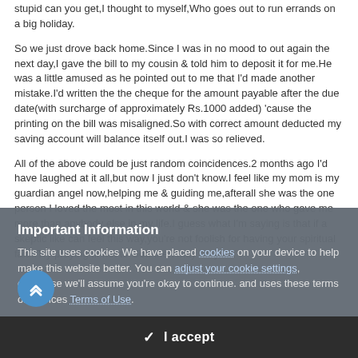stupid can you get,I thought to myself,Who goes out to run errands on a big holiday.
So we just drove back home.Since I was in no mood to out again the next day,I gave the bill to my cousin & told him to deposit it for me.He was a little amused as he pointed out to me that I'd made another mistake.I'd written the the cheque for the amount payable after the due date(with surcharge of approximately Rs.1000 added) 'cause the printing on the bill was misaligned.So with correct amount deducted my saving account will balance itself out.I was so relieved.
All of the above could be just random coincidences.2 months ago I'd have laughed at it all,but now I just don't know.I feel like my mom is my guardian angel now,helping me & guiding me,afterall she was the one person I loved the most in this world & she was the one who gave me more than anybody else in my life.I guess what I'm saying is that if a skeptic like can feel this way,you're not foolish for having your spiritual faith.Try praying ,if not to God then may be your
Important Information
This site uses cookies We have placed cookies on your device to help make this website better. You can adjust your cookie settings, otherwise we'll assume you're okay to continue. and uses these terms of services Terms of Use.